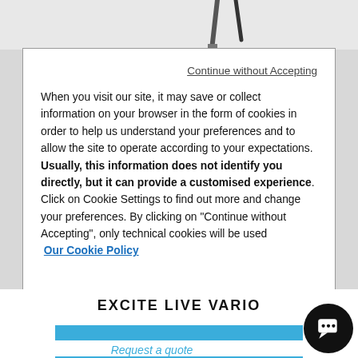[Figure (screenshot): Top decorative area with partial pen/pencil graphic visible at top of page]
Continue without Accepting
When you visit our site, it may save or collect information on your browser in the form of cookies in order to help us understand your preferences and to allow the site to operate according to your expectations. Usually, this information does not identify you directly, but it can provide a customised experience. Click on Cookie Settings to find out more and change your preferences. By clicking on "Continue without Accepting", only technical cookies will be used
Our Cookie Policy
Cookies Settings
Accept All Cookies
EXCITE LIVE VARIO
DISCOVER MORE
Request a quote